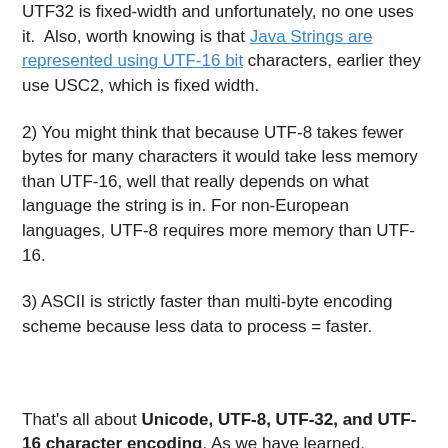UTF32 is fixed-width and unfortunately, no one uses it.  Also, worth knowing is that Java Strings are represented using UTF-16 bit characters, earlier they use USC2, which is fixed width.
2) You might think that because UTF-8 takes fewer bytes for many characters it would take less memory than UTF-16, well that really depends on what language the string is in. For non-European languages, UTF-8 requires more memory than UTF-16.
3) ASCII is strictly faster than multi-byte encoding scheme because less data to process = faster.
That's all about Unicode, UTF-8, UTF-32, and UTF-16 character encoding. As we have learned, Unicode is a character set of various symbols, while UTF-8, UTF-16, and UTF-32 are different ways to represent them in byte format. Both UTF-8 and UTF-16 are variable-length encoding, where the number of bytes used depends upon Unicode